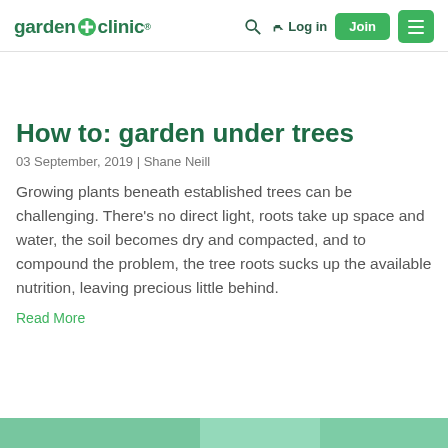garden+clinic® | Log in | Join
How to: garden under trees
03 September, 2019  |  Shane Neill
Growing plants beneath established trees can be challenging. There's no direct light, roots take up space and water, the soil becomes dry and compacted, and to compound the problem, the tree roots sucks up the available nutrition, leaving precious little behind.
Read More
[Figure (photo): Bottom strip image — partial view of garden/tree scene in teal/green tones]